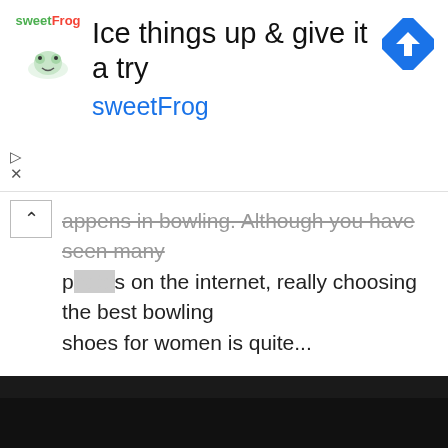[Figure (screenshot): SweetFrog advertisement banner with logo, headline 'Ice things up & give it a try', brand name 'sweetFrog', and a blue navigation/direction icon on the right]
appens in bowling. Although you have seen many photos on the internet, really choosing the best bowling shoes for women is quite...
Terms of use   Privacy policy   Contact us
mybowlingclubwebsite.com © 2022. All rights reserved.